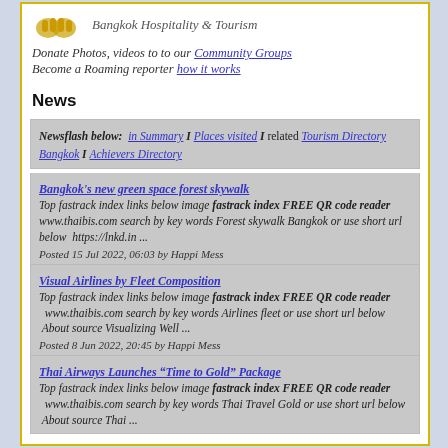[Figure (logo): Bangkok Hospitality & Tourism logo with hands and text]
Donate Photos, videos to to our Community Groups
Become a Roaming reporter how it works
News
Newsflash below: in Summary I Places visited I related Tourism Directory Bangkok I Achievers Directory
Bangkok's new green space forest skywalk Top fastrack index links below image fastrack index FREE QR code reader www.thaibis.com search by key words Forest skywalk Bangkok or use short url below https://lnkd.in ... Posted 15 Jul 2022, 06:03 by Happi Mess
Visual Airlines by Fleet Composition Top fastrack index links below image fastrack index FREE QR code reader www.thaibis.com search by key words Airlines fleet or use short url below About source Visualizing Well ... Posted 8 Jun 2022, 20:45 by Happi Mess
Thai Airways Launches “Time to Gold” Package Top fastrack index links below image fastrack index FREE QR code reader www.thaibis.com search by key words Thai Travel Gold or use short url below About source Thai ...